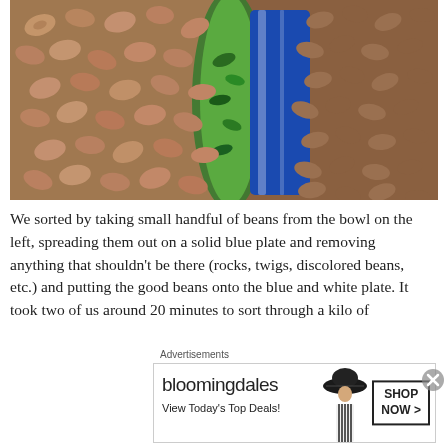[Figure (photo): Close-up photo of dried pinto/ayocote beans spread around two ceramic bowls — one with colorful Talavera-style green and blue pattern on the left, one cobalt blue and white on the right. Beans are light brown and speckled.]
We sorted by taking small handful of beans from the bowl on the left, spreading them out on a solid blue plate and removing anything that shouldn't be there (rocks, twigs, discolored beans, etc.) and putting the good beans onto the blue and white plate. It took two of us around 20 minutes to sort through a kilo of
Advertisements
[Figure (other): Bloomingdale's advertisement banner: logo text 'bloomingdales', tagline 'View Today's Top Deals!', image of woman in large hat, 'SHOP NOW >' button]